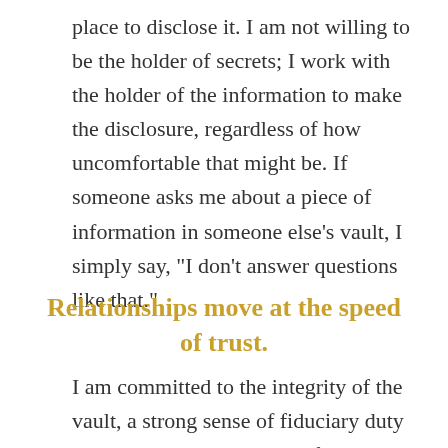place to disclose it. I am not willing to be the holder of secrets; I work with the holder of the information to make the disclosure, regardless of how uncomfortable that might be. If someone asks me about a piece of information in someone else's vault, I simply say, "I don't answer questions like that."
Relationships move at the speed of trust.
I am committed to the integrity of the vault, a strong sense of fiduciary duty and a deep understanding of the mechanics of